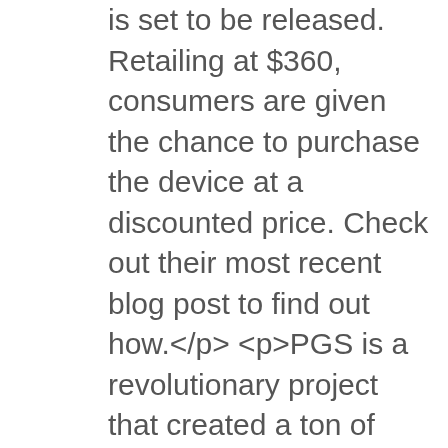is set to be released. Retailing at $360, consumers are given the chance to purchase the device at a discounted price. Check out their most recent blog post to find out how.</p><p>PGS is a revolutionary project that created a ton of excitement in both consumers and the media and raised more than the $300,000 needed to start development in just five days. That's the sort of result that requires a bottle of champagne and the highest of high-fives.</p><p>However where there's light there must also be darkness as rumours started to spread that the PGS was just a scam. The idea took off to the point of which PGS's developers have decided to cancel the Kickstarter only several days from the campaign's end and refund all of